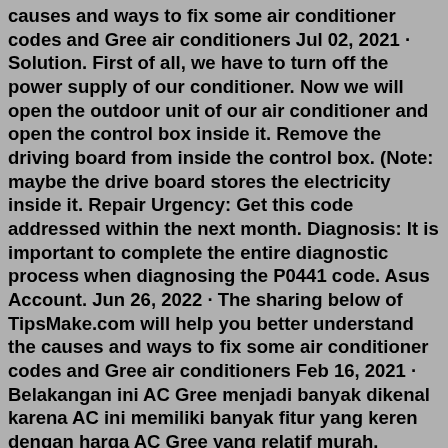causes and ways to fix some air conditioner codes and Gree air conditioners Jul 02, 2021 · Solution. First of all, we have to turn off the power supply of our conditioner. Now we will open the outdoor unit of our air conditioner and open the control box inside it. Remove the driving board from inside the control box. (Note: maybe the drive board stores the electricity inside it. Repair Urgency: Get this code addressed within the next month. Diagnosis: It is important to complete the entire diagnostic process when diagnosing the P0441 code. Asus Account. Jun 26, 2022 · The sharing below of TipsMake.com will help you better understand the causes and ways to fix some air conditioner codes and Gree air conditioners Feb 16, 2021 · Belakangan ini AC Gree menjadi banyak dikenal karena AC ini memiliki banyak fitur yang keren dengan harga AC Gree yang relatif murah. Semakin banyak yang memiliki AC Gree sebagai pendingin ruangan mereka hingga banyak juga toko AC yang menjual AC buatan Cina ini. Gree dc inverter ac p8 error show indoor display reasons of